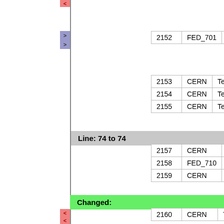| 2152 | FED_701 | Tested. | 6/1 |
| 2153 | CERN | Tested. | 6/1 |
| 2154 | CERN | Tested. | 6/1 |
| 2155 | CERN | Tested. | 6/1 |
Line: 74 to 74
| 2157 | CERN | Tested. | 6/1 |
| 2158 | FED_710 | Tested. | 6/1 |
| 2159 | CERN | Tested. | 6/1 |
Changed:
| 2160 | CERN | Tested. | 6/1 |
| 2160 | FED_700 | Tested. | 6/1 |
| 2161 | FED_708 | Tested. | 6/1 |
| 2162 | FED_716 | Tested. | 6/1 |